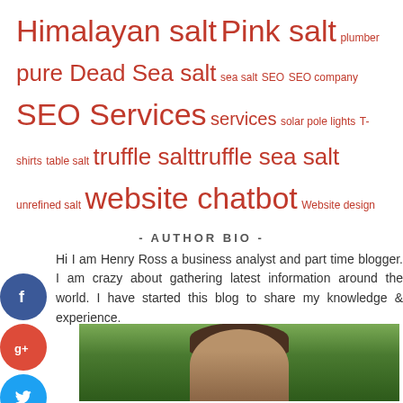Himalayan salt Pink salt plumber pure Dead Sea salt sea salt SEO SEO company SEO Services services solar pole lights T-shirts table salt truffle salt truffle sea salt unrefined salt website chatbot Website design
- AUTHOR BIO -
Hi I am Henry Ross a business analyst and part time blogger. I am crazy about gathering latest information around the world. I have started this blog to share my knowledge & experience.
[Figure (photo): Photo of a man (Henry Ross) outdoors with green trees in background]